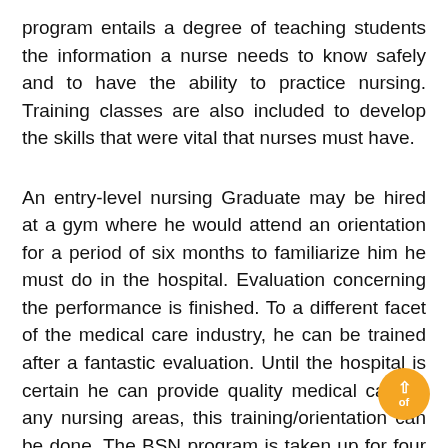program entails a degree of teaching students the information a nurse needs to know safely and to have the ability to practice nursing. Training classes are also included to develop the skills that were vital that nurses must have.
An entry-level nursing Graduate may be hired at a gym where he would attend an orientation for a period of six months to familiarize him he must do in the hospital. Evaluation concerning the performance is finished. To a different facet of the medical care industry, he can be trained after a fantastic evaluation. Until the hospital is certain he can provide quality medical care in any nursing areas, this training/orientation can be done. The BSN program is taken up for four decades and is more comprehensive and has a selection of coverage than the program. Students under this